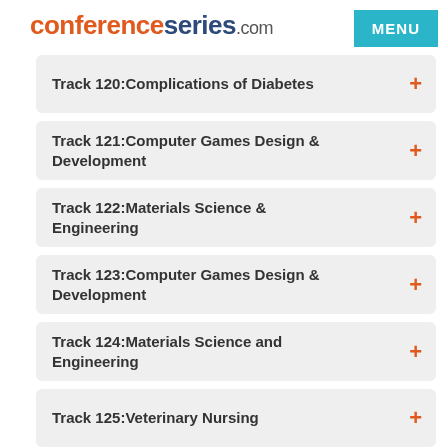conferenceseries.com
Track 120:Complications of Diabetes
Track 121:Computer Games Design & Development
Track 122:Materials Science & Engineering
Track 123:Computer Games Design & Development
Track 124:Materials Science and Engineering
Track 125:Veterinary Nursing
Track 126:Computer Games Design & Development